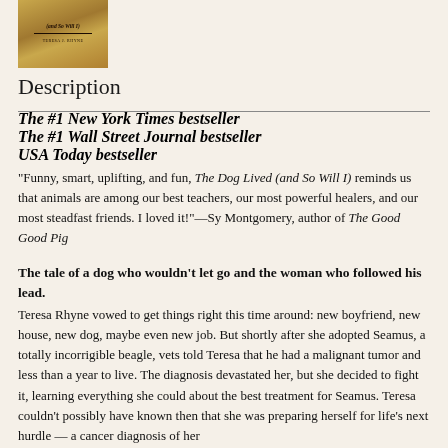[Figure (illustration): Book cover of 'The Dog Lived (and So Will I)' by Teresa J. Rhyne, gold/brown colored cover]
Description
The #1 New York Times bestseller
The #1 Wall Street Journal bestseller
USA Today bestseller
"Funny, smart, uplifting, and fun, The Dog Lived (and So Will I) reminds us that animals are among our best teachers, our most powerful healers, and our most steadfast friends. I loved it!"—Sy Montgomery, author of The Good Good Pig
The tale of a dog who wouldn't let go and the woman who followed his lead.
Teresa Rhyne vowed to get things right this time around: new boyfriend, new house, new dog, maybe even new job. But shortly after she adopted Seamus, a totally incorrigible beagle, vets told Teresa that he had a malignant tumor and less than a year to live. The diagnosis devastated her, but she decided to fight it, learning everything she could about the best treatment for Seamus. Teresa couldn't possibly have known then that she was preparing herself for life's next hurdle — a cancer diagnosis of her